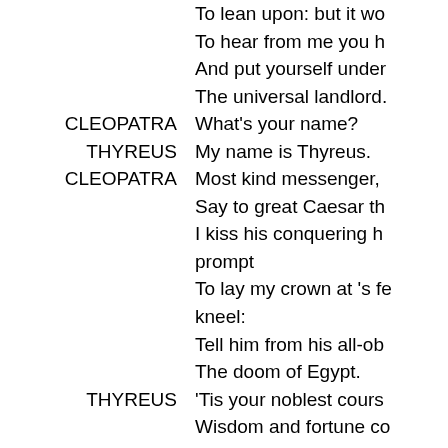To lean upon: but it wo
To hear from me you h
And put yourself under
The universal landlord.
CLEOPATRA   What's your name?
THYREUS   My name is Thyreus.
CLEOPATRA   Most kind messenger,
Say to great Caesar th
I kiss his conquering ha prompt
To lay my crown at 's fe kneel:
Tell him from his all-ob
The doom of Egypt.
THYREUS   'Tis your noblest cours
Wisdom and fortune co
If that the former dare h